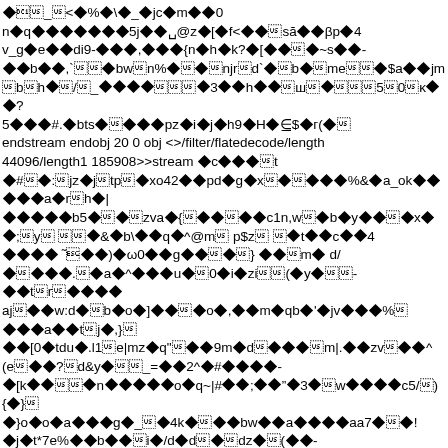Binary/encoded stream data with diamond replacement characters — garbled PDF stream content showing endstream endobj 20 0 obj <>/filter/flatedecode/length 44096/length1 185908>>stream followed by more encoded data